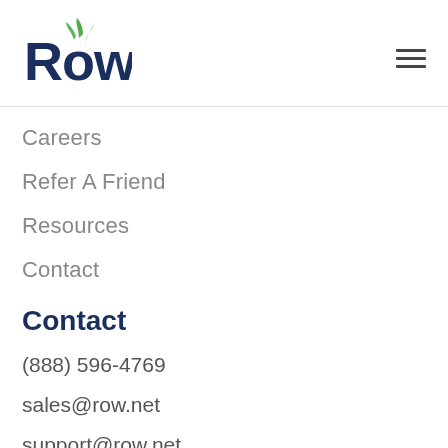[Figure (logo): Row logo with green leaf accents above the letter 'o' and bold dark navy text]
Careers
Refer A Friend
Resources
Contact
Contact
(888) 596-4769
sales@row.net
support@row.net